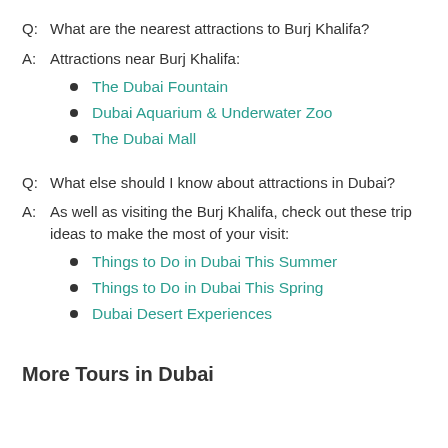Q: What are the nearest attractions to Burj Khalifa?
A: Attractions near Burj Khalifa:
The Dubai Fountain
Dubai Aquarium & Underwater Zoo
The Dubai Mall
Q: What else should I know about attractions in Dubai?
A: As well as visiting the Burj Khalifa, check out these trip ideas to make the most of your visit:
Things to Do in Dubai This Summer
Things to Do in Dubai This Spring
Dubai Desert Experiences
More Tours in Dubai